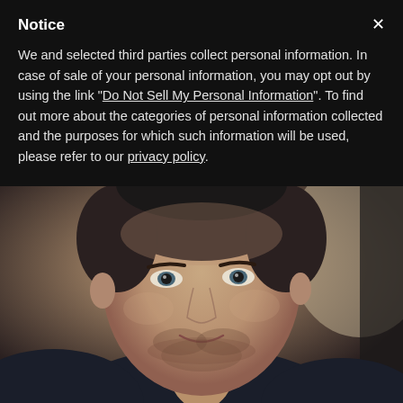Notice
We and selected third parties collect personal information. In case of sale of your personal information, you may opt out by using the link "Do Not Sell My Personal Information". To find out more about the categories of personal information collected and the purposes for which such information will be used, please refer to our privacy policy.
[Figure (photo): Close-up portrait photo of a middle-aged man with short dark hair and stubble, wearing a dark navy t-shirt, smiling slightly, photographed in a dimly lit indoor setting with warm background tones.]